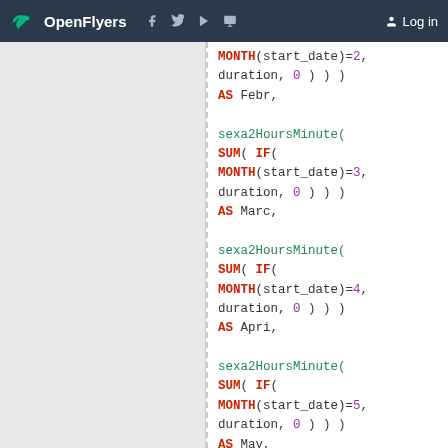OpenFlyers | Log in
MONTH(start_date)=2,
duration, 0 ) ) )
AS Febr,

sexa2HoursMinute(
SUM( IF(
MONTH(start_date)=3,
duration, 0 ) ) )
AS Marc,

sexa2HoursMinute(
SUM( IF(
MONTH(start_date)=4,
duration, 0 ) ) )
AS Apri,

sexa2HoursMinute(
SUM( IF(
MONTH(start_date)=5,
duration, 0 ) ) )
AS May,

sexa2HoursMinute(
SUM( IF(
MONTH(start_date)=6,
duration, 0 ) ) )
AS J...